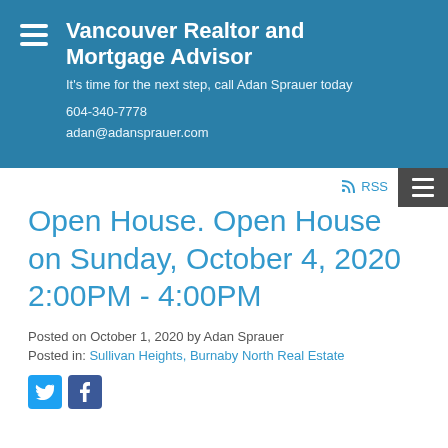Vancouver Realtor and Mortgage Advisor
It's time for the next step, call Adan Sprauer today
604-340-7778
adan@adansprauer.com
Open House. Open House on Sunday, October 4, 2020 2:00PM - 4:00PM
Posted on October 1, 2020 by Adan Sprauer
Posted in: Sullivan Heights, Burnaby North Real Estate